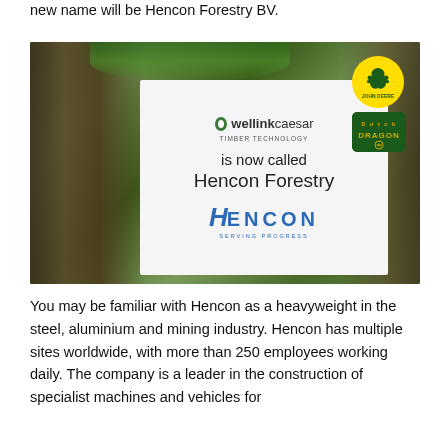new name will be Hencon Forestry BV.
[Figure (photo): Photo of a sign pinned to a tree trunk with ivy, showing the Wellink Caesar Timber Technology logo with text 'is now called Hencon Forestry' and the Hencon Serving Progress logo. John Deere and Dutch Dragon logos are visible on the right side of the tree.]
You may be familiar with Hencon as a heavyweight in the steel, aluminium and mining industry. Hencon has multiple sites worldwide, with more than 250 employees working daily. The company is a leader in the construction of specialist machines and vehicles for